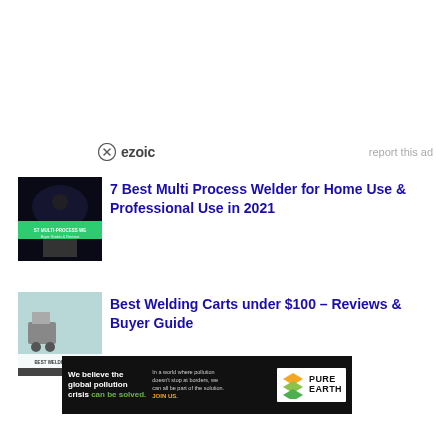[Figure (logo): Ezoic logo with circle icon and 'ezoic' text, and 'report this ad' text to the right]
[Figure (illustration): Thumbnail for '7 Best Multi Process Welder for Home Use & Professional Use in 2021' article showing welding equipment on dark background with green banner]
7 Best Multi Process Welder for Home Use & Professional Use in 2021
[Figure (photo): Thumbnail for 'Best Welding Carts under $100 – Reviews & Buyer Guide' showing welding carts on light teal background]
Best Welding Carts under $100 – Reviews & Buyer Guide
[Figure (infographic): Pure Earth advertisement banner: 'We believe the global pollution crisis can be solved.' with JOIN US call to action and Pure Earth logo]